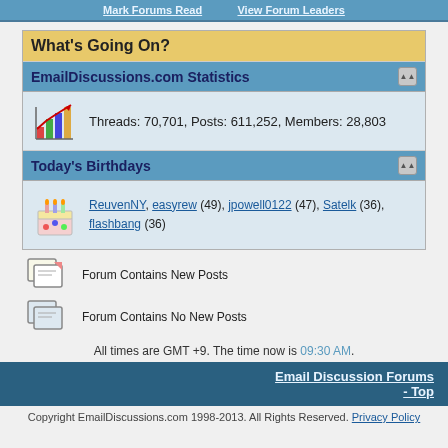Mark Forums Read   View Forum Leaders
What's Going On?
EmailDiscussions.com Statistics
Threads: 70,701, Posts: 611,252, Members: 28,803
Today's Birthdays
ReuvenNY, easyrew (49), jpowell0122 (47), Satelk (36), flashbang (36)
Forum Contains New Posts
Forum Contains No New Posts
All times are GMT +9. The time now is 09:30 AM.
Email Discussion Forums - Top
Copyright EmailDiscussions.com 1998-2013. All Rights Reserved. Privacy Policy